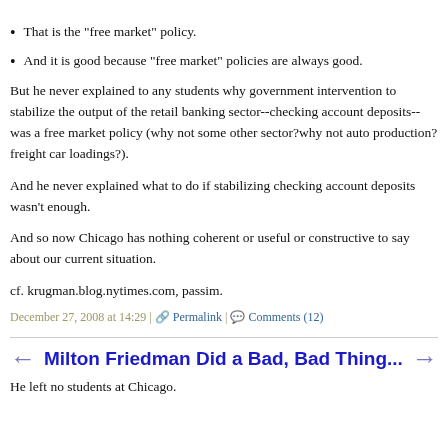That is the "free market" policy.
And it is good because "free market" policies are always good.
But he never explained to any students why government intervention to stabilize the output of the retail banking sector--checking account deposits--was a free market policy (why not some other sector?why not auto production? freight car loadings?).
And he never explained what to do if stabilizing checking account deposits wasn't enough.
And so now Chicago has nothing coherent or useful or constructive to say about our current situation.
cf. krugman.blog.nytimes.com, passim.
December 27, 2008 at 14:29 | Permalink | Comments (12)
Milton Friedman Did a Bad, Bad Thing...
He left no students at Chicago.